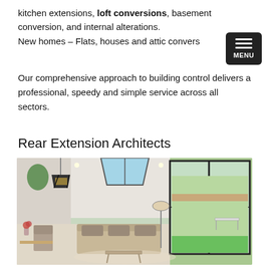kitchen extensions, loft conversions, basement conversion, and internal alterations.
New homes – Flats, houses and attic conversions
Our comprehensive approach to building control delivers a professional, speedy and simple service across all sectors.
Rear Extension Architects
[Figure (photo): Interior photo of a modern rear extension living room with large sliding glass doors opening to a garden, skylight, sofa, coffee table, and pendant light fixture.]